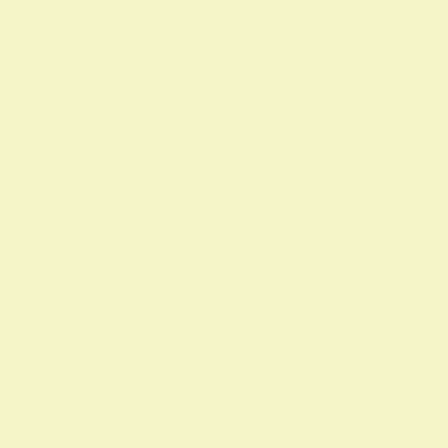1 bedroom in Leighton Buzzard
[Figure (illustration): House icon - black silhouette of a house with blue border]
Advert Id (239432)
I have a one bedroom flat with central heating , double glazing , garden , parking
Located in Tow
View More Det
1 bedroom in Staplehurst
[Figure (illustration): House icon - black silhouette of a house with blue border]
Advert Id (238825)
i have a lovely b for a move is to village with sho
Located in Tow
View More Det